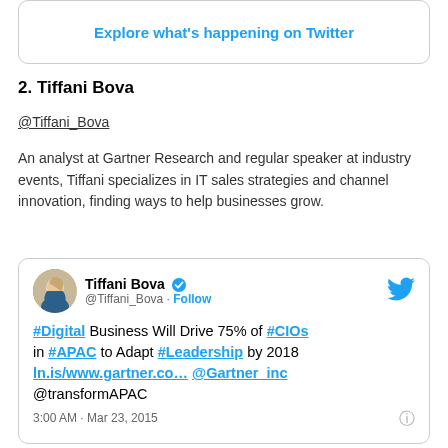[Figure (screenshot): Rounded card with 'Explore what's happening on Twitter' button in blue text]
2. Tiffani Bova
@Tiffani_Bova
An analyst at Gartner Research and regular speaker at industry events, Tiffani specializes in IT sales strategies and channel innovation, finding ways to help businesses grow.
[Figure (screenshot): Embedded tweet card from Tiffani Bova (@Tiffani_Bova) with verified badge, Follow button, Twitter bird icon, tweet text: '#Digital Business Will Drive 75% of #CIOs in #APAC to Adapt #Leadership by 2018 ln.is/www.gartner.co... @Gartner_inc @transformAPAC', timestamp: 3:00 AM · Mar 23, 2015]